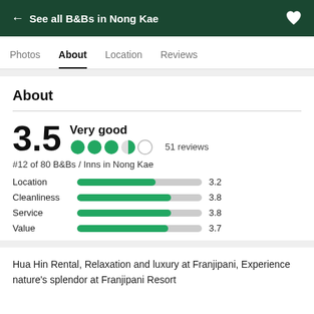← See all B&Bs in Nong Kae
About
3.5 Very good  51 reviews
#12 of 80 B&Bs / Inns in Nong Kae
Location 3.2
Cleanliness 3.8
Service 3.8
Value 3.7
Hua Hin Rental, Relaxation and luxury at Franjipani, Experience nature's splendor at Franjipani Resort